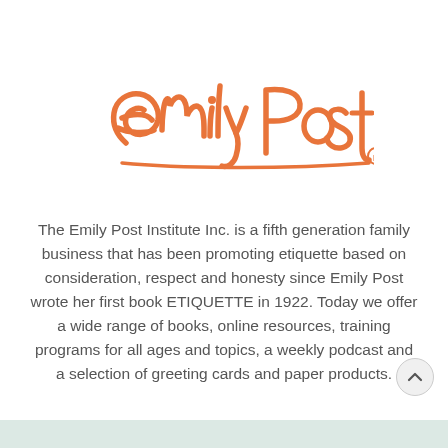[Figure (logo): Emily Post cursive signature logo in orange/coral color with registered trademark symbol]
The Emily Post Institute Inc. is a fifth generation family business that has been promoting etiquette based on consideration, respect and honesty since Emily Post wrote her first book ETIQUETTE in 1922. Today we offer a wide range of books, online resources, training programs for all ages and topics, a weekly podcast and a selection of greeting cards and paper products.